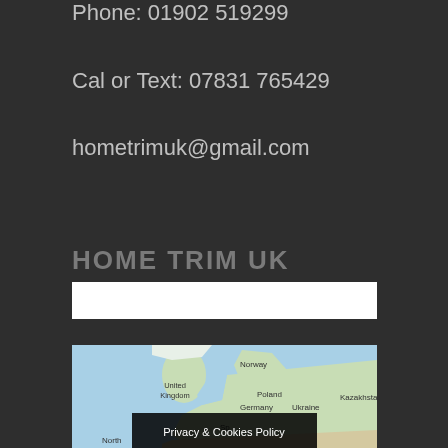Phone: 01902 519299
Cal or Text: 07831 765429
hometrimuk@gmail.com
HOME TRIM UK
[Figure (other): White search/input bar]
[Figure (map): Google Maps view showing Europe including Norway, United Kingdom, Poland, Germany, Ukraine, Kazakhstan, Spain, North Africa]
Privacy & Cookies Policy